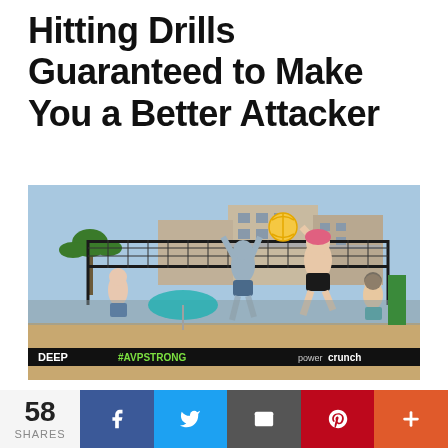Hitting Drills Guaranteed to Make You a Better Attacker
[Figure (photo): Beach volleyball action shot at an AVP tournament. A player in black shorts with a pink cap is jumping and hitting the ball over the net while an opponent attempts a block. Banners reading DEEP, #AVPSTRONG, and power crunch are visible along the court boundary. Crowd and beach buildings in background.]
58 SHARES